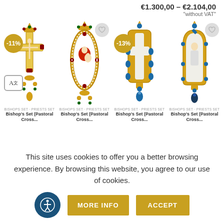€1.300,00 – €2.104,00 "without VAT"
[Figure (photo): Four religious jewelry items: two pastoral crosses and two icon pendants in gold with gemstones. Left two items shown with -11% and -13% discount badges.]
BISHOPS SET · PRIESTS SET
Bishop's Set (Pastoral Cross...
BISHOPS SET · PRIESTS SET
Bishop's Set (Pastoral Cross...
This site uses cookies to offer you a better browsing experience. By browsing this website, you agree to our use of cookies.
MORE INFO
ACCEPT